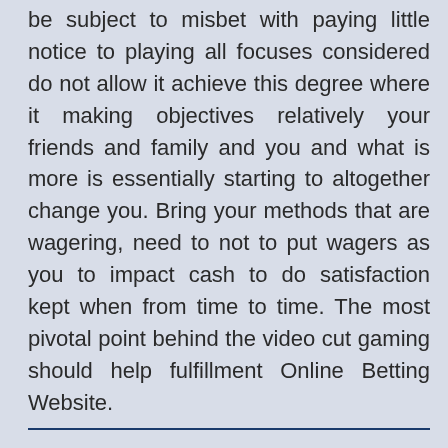be subject to misbet with paying little notice to playing all focuses considered do not allow it achieve this degree where it making objectives relatively your friends and family and you and what is more is essentially starting to altogether change you. Bring your methods that are wagering, need to not to put wagers as you to impact cash to do satisfaction kept when from time to time. The most pivotal point behind the video cut gaming should help fulfillment Online Betting Website.